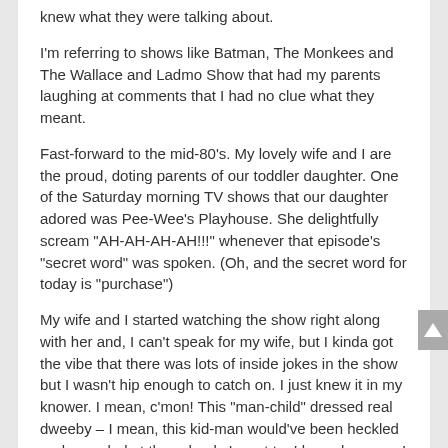knew what they were talking about.
I'm referring to shows like Batman, The Monkees and The Wallace and Ladmo Show that had my parents laughing at comments that I had no clue what they meant.
Fast-forward to the mid-80's. My lovely wife and I are the proud, doting parents of our toddler daughter. One of the Saturday morning TV shows that our daughter adored was Pee-Wee's Playhouse. She delightfully scream "AH-AH-AH-AH!!!" whenever that episode's "secret word" was spoken. (Oh, and the secret word for today is "purchase")
My wife and I started watching the show right along with her and, I can't speak for my wife, but I kinda got the vibe that there was lots of inside jokes in the show but I wasn't hip enough to catch on. I just knew it in my knower. I mean, c'mon! This "man-child" dressed real dweeby – I mean, this kid-man would've been heckled and pounded at the schools I went to. I know because I was and, if I was, the Pee-Wee fella sure as heck would have.
Well, eventually, I bought the "How To Be Hip Enough To Understand Pee-Wee's Playhouse For Dummies" book